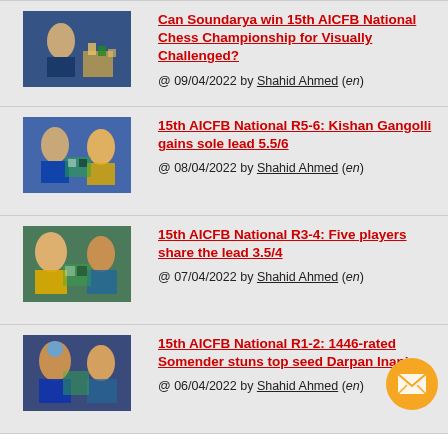Can Soundarya win 15th AICFB National Chess Championship for Visually Challenged? @ 09/04/2022 by Shahid Ahmed (en)
15th AICFB National R5-6: Kishan Gangolli gains sole lead 5.5/6 @ 08/04/2022 by Shahid Ahmed (en)
15th AICFB National R3-4: Five players share the lead 3.5/4 @ 07/04/2022 by Shahid Ahmed (en)
15th AICFB National R1-2: 1446-rated Somender stuns top seed Darpan Inani @ 06/04/2022 by Shahid Ahmed (en)